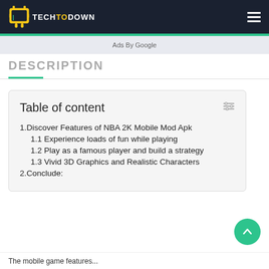TECHTODOWN
Ads By Google
DESCRIPTION
Table of content
1. Discover Features of NBA 2K Mobile Mod Apk
  1.1 Experience loads of fun while playing
  1.2 Play as a famous player and build a strategy
  1.3 Vivid 3D Graphics and Realistic Characters
2. Conclude:
The mobile game features...